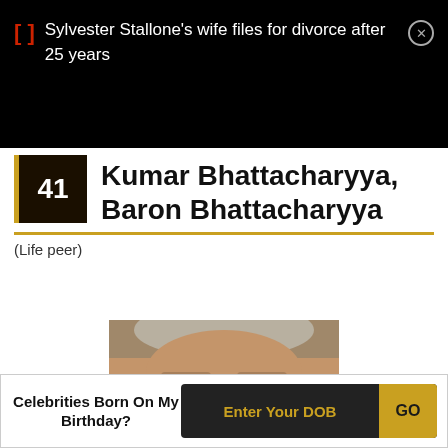Sylvester Stallone's wife files for divorce after 25 years
41 Kumar Bhattacharyya, Baron Bhattacharyya
(Life peer)
[Figure (photo): Portrait photo of Kumar Bhattacharyya, showing the top portion of his face including grey hair and glasses]
Celebrities Born On My Birthday? Enter Your DOB GO